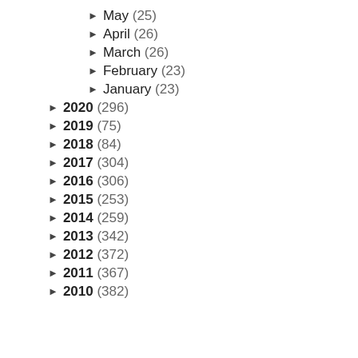May (25)
April (26)
March (26)
February (23)
January (23)
2020 (296)
2019 (75)
2018 (84)
2017 (304)
2016 (306)
2015 (253)
2014 (259)
2013 (342)
2012 (372)
2011 (367)
2010 (382)